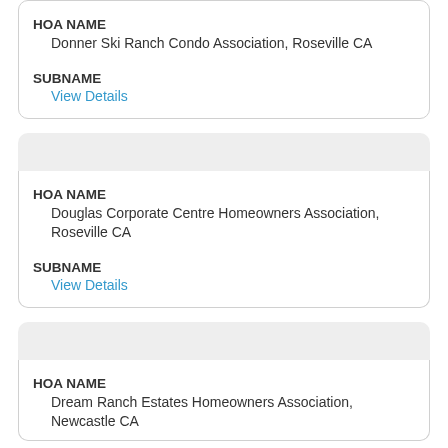HOA NAME
Donner Ski Ranch Condo Association, Roseville CA
SUBNAME
View Details
HOA NAME
Douglas Corporate Centre Homeowners Association, Roseville CA
SUBNAME
View Details
HOA NAME
Dream Ranch Estates Homeowners Association, Newcastle CA